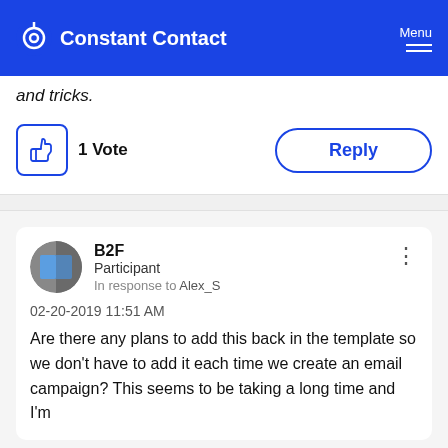Constant Contact — Menu
and tricks.
1 Vote
Reply
B2F
Participant
In response to Alex_S
02-20-2019  11:51 AM
Are there any plans to add this back in the template so we don't have to add it each time we create an email campaign?  This seems to be taking a long time and I'm